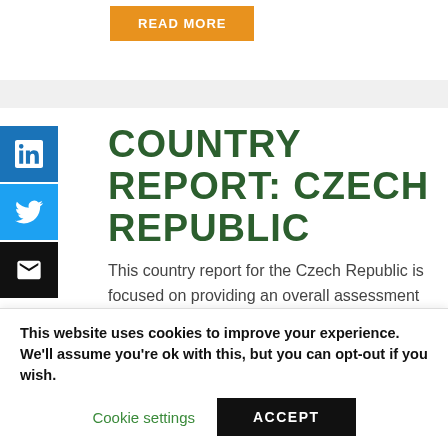[Figure (other): Orange 'READ MORE' button at top of page]
COUNTRY REPORT: CZECH REPUBLIC
[Figure (other): Social sharing sidebar icons: LinkedIn (blue), Twitter (light blue), Email (black)]
This country report for the Czech Republic is focused on providing an overall assessment of the current state of the bioeconomy. It is not intended to be an exhaustive look at all aspects of the
This website uses cookies to improve your experience. We'll assume you're ok with this, but you can opt-out if you wish.
Cookie settings    ACCEPT